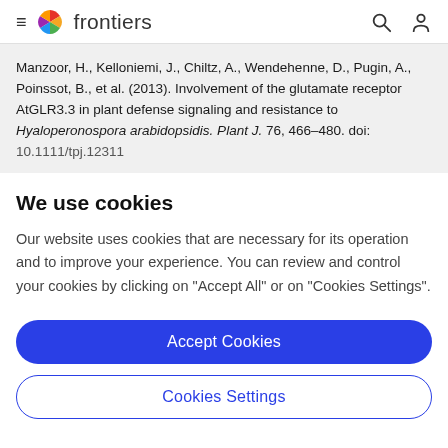frontiers
Manzoor, H., Kelloniemi, J., Chiltz, A., Wendehenne, D., Pugin, A., Poinssot, B., et al. (2013). Involvement of the glutamate receptor AtGLR3.3 in plant defense signaling and resistance to Hyaloperonospora arabidopsidis. Plant J. 76, 466–480. doi: 10.1111/tpj.12311
We use cookies
Our website uses cookies that are necessary for its operation and to improve your experience. You can review and control your cookies by clicking on "Accept All" or on "Cookies Settings".
Accept Cookies
Cookies Settings